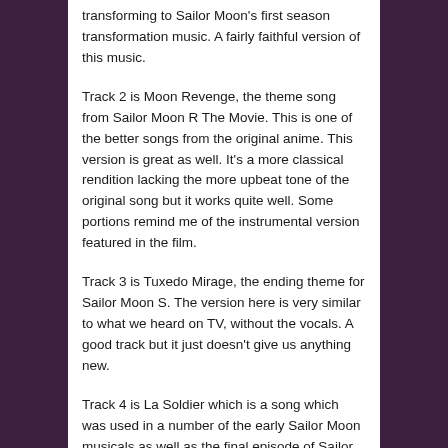transforming to Sailor Moon's first season transformation music. A fairly faithful version of this music.
Track 2 is Moon Revenge, the theme song from Sailor Moon R The Movie. This is one of the better songs from the original anime. This version is great as well. It's a more classical rendition lacking the more upbeat tone of the original song but it works quite well. Some portions remind me of the instrumental version featured in the film.
Track 3 is Tuxedo Mirage, the ending theme for Sailor Moon S. The version here is very similar to what we heard on TV, without the vocals. A good track but it just doesn't give us anything new.
Track 4 is La Soldier which is a song which was used in a number of the early Sailor Moon musicals as well as the final episode of Sailor Moon R (Let's pretend episode 89 doesn't exist because I hate it!). This is a good rendition but not as good as the original and nothing could top the Tommy heavenly6 version from the Tribute Album for me.
Track 5 is a Three Light Medley which merges two songs